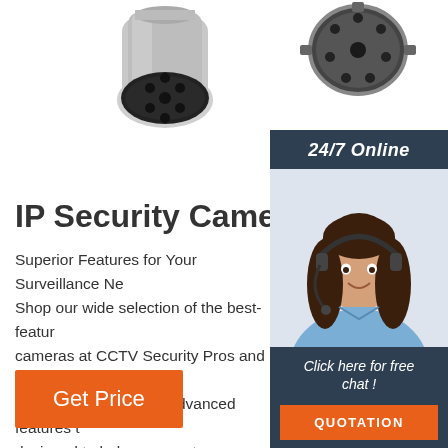[Figure (photo): Close-up of a multi-lens security camera connector end, chrome/silver finish, viewed from the front]
[Figure (photo): Close-up of a circular security camera connector, black, viewed from front-right angle]
[Figure (photo): Sidebar with 24/7 Online header, customer service representative woman with headset smiling, Click here for free chat text, and orange QUOTATION button]
IP Security Cameras
Superior Features for Your Surveillance Ne... Shop our wide selection of the best-featu... cameras at CCTV Security Pros and enjo... incredible selection of advanced features t... designed to help you create a custom professional-grade security system to protect your business or property.
Get Price